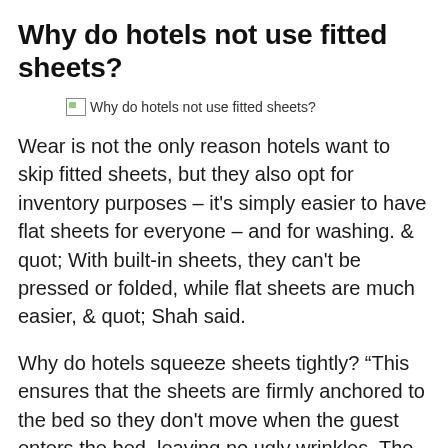Why do hotels not use fitted sheets?
[Figure (other): Broken image placeholder with alt text: Why do hotels not use fitted sheets?]
Wear is not the only reason hotels want to skip fitted sheets, but they also opt for inventory purposes – it's simply easier to have flat sheets for everyone – and for washing. & quot; With built-in sheets, they can't be pressed or folded, while flat sheets are much easier, & quot; Shah said.
Why do hotels squeeze sheets tightly? “This ensures that the sheets are firmly anchored to the bed so they don't move when the guest enters the bed, leaving no ugly wrinkles. The folded corners